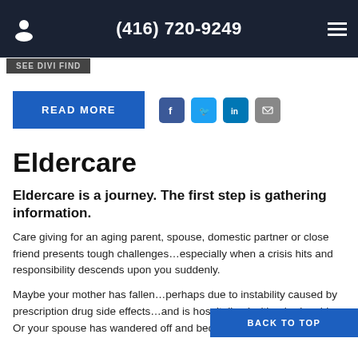(416) 720-9249
[Figure (screenshot): A stub/breadcrumb button partially visible at top left, dark background]
[Figure (other): READ MORE blue button with social share icons: Facebook, Twitter, LinkedIn, Email]
Eldercare
Eldercare is a journey. The first step is gathering information.
Care giving for an aging parent, spouse, domestic partner or close friend presents tough challenges…especially when a crisis hits and responsibility descends upon you suddenly.
Maybe your mother has fallen…perhaps due to instability caused by prescription drug side effects…and is hospitalized with a broken hip. Or your spouse has wandered off and become lost several
BACK TO TOP